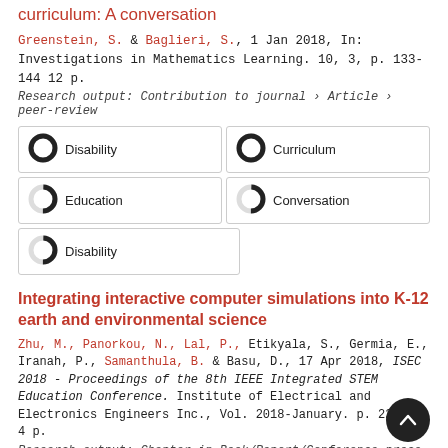curriculum: A conversation
Greenstein, S. & Baglieri, S., 1 Jan 2018, In: Investigations in Mathematics Learning. 10, 3, p. 133-144 12 p.
Research output: Contribution to journal › Article › peer-review
[Figure (infographic): Keyword badges with donut chart indicators: 100% Disability, 100% Curriculum, 50% Education, 50% Conversation, 50% Disability]
Integrating interactive computer simulations into K-12 earth and environmental science
Zhu, M., Panorkou, N., Lal, P., Etikyala, S., Germia, E., Iranah, P., Samanthula, B. & Basu, D., 17 Apr 2018, ISEC 2018 - Proceedings of the 8th IEEE Integrated STEM Education Conference. Institute of Electrical and Electronics Engineers Inc., Vol. 2018-January. p. 220-223 4 p.
Research output: Chapter in Book/Report/Conference proceedings › Conference contribution › peer-review
[Figure (infographic): Partially visible keyword badge rows at bottom of page]